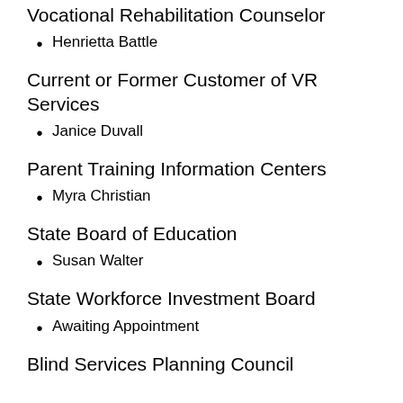Vocational Rehabilitation Counselor
Henrietta Battle
Current or Former Customer of VR Services
Janice Duvall
Parent Training Information Centers
Myra Christian
State Board of Education
Susan Walter
State Workforce Investment Board
Awaiting Appointment
Blind Services Planning Council